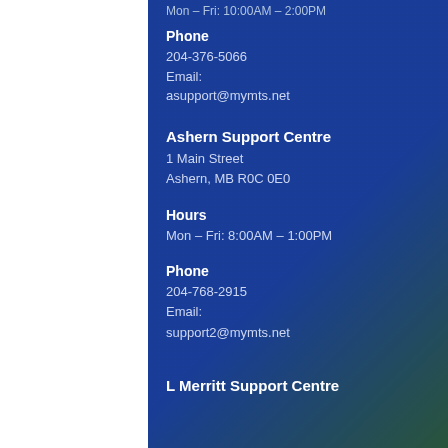Mon – Fri: 10:00AM – 2:00PM
Phone
204-376-5066
Email:
asupport@mymts.net
Ashern Support Centre
1 Main Street
Ashern, MB R0C 0E0
Hours
Mon – Fri: 8:00AM – 1:00PM
Phone
204-768-2915
Email:
support2@mymts.net
L Merritt Support Centre